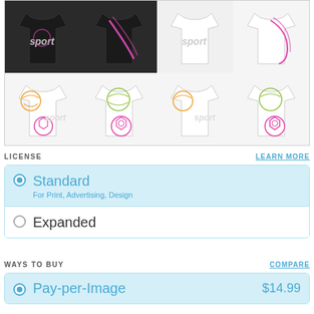[Figure (illustration): Gallery of 8 sport-themed t-shirt designs arranged in 2 rows of 4. Top row shows dark/black shirts with sport graphics; bottom row shows white shirts with volleyball and soccer ball graphics in orange, green, and pink colors.]
LICENSE
LEARN MORE
Standard - For Print, Advertising, Design (selected)
Expanded
WAYS TO BUY
COMPARE
Pay-per-Image $14.99 (selected)